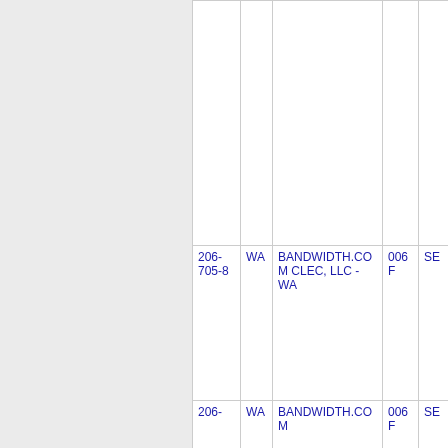| Phone | State | Carrier | Code | Type |
| --- | --- | --- | --- | --- |
|  |  |  |  |  |
| 206-705-8 | WA | BANDWIDTH.COM CLEC, LLC - WA | 006F | SE |
|  |  |  |  |  |
| 206- | WA | BANDWIDTH.COM | 006F | SE |